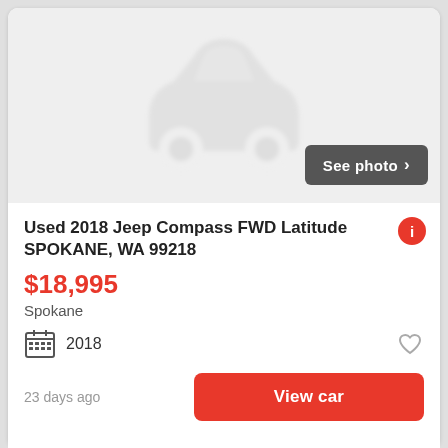[Figure (illustration): Placeholder car silhouette image with gray background and blurred car icon]
Used 2018 Jeep Compass FWD Latitude SPOKANE, WA 99218
$18,995
Spokane
2018
23 days ago
View car